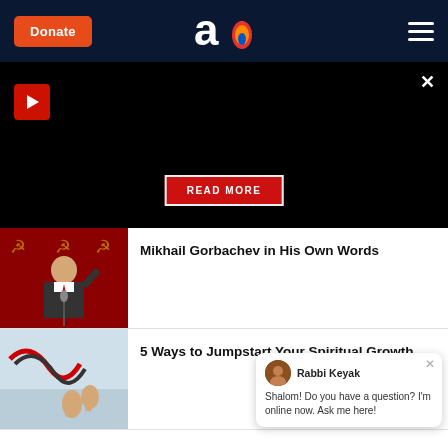Donate | Aish logo | navigation menu
[Figure (screenshot): Black banner ad area with red play button, close X, and READ MORE button]
[Figure (photo): Mikhail Gorbachev speaking at a podium with red curtain and Soviet symbols in background]
Mikhail Gorbachev in His Own Words
[Figure (photo): Person with jumper cables or wires, hands raised, spiritual growth imagery]
5 Ways to Jumpstart Your Spiritual Growth
Rabbi Keyak
Shalom! Do you have a question? I'm online now. Ask me here!